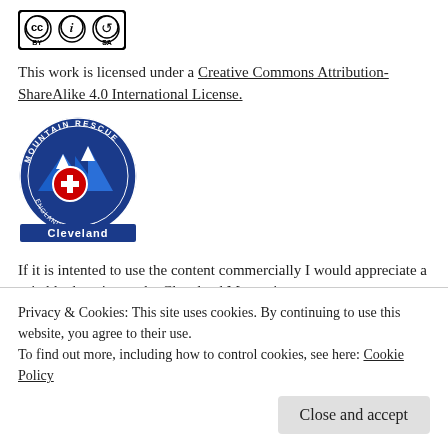[Figure (logo): Creative Commons CC BY-SA license badge showing CC, BY, and SA icons in a black bordered rectangle]
This work is licensed under a Creative Commons Attribution-ShareAlike 4.0 International License.
[Figure (logo): Cleveland Mountain Rescue circular logo with blue background, mountain peaks, red and white cross, and 'Cleveland' text bar at bottom]
If it is intented to use the content commercially I would appreciate a suitable donation to the Cleveland Mountain Rescue Team mentioning the site.
Privacy & Cookies: This site uses cookies. By continuing to use this website, you agree to their use.
To find out more, including how to control cookies, see here: Cookie Policy